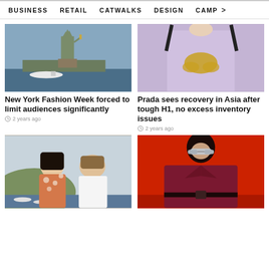BUSINESS   RETAIL   CATWALKS   DESIGN   CAMP >
[Figure (photo): Statue of Liberty with a boat in the foreground on a clear day]
New York Fashion Week forced to limit audiences significantly
2 years ago
[Figure (photo): Close-up of a model wearing a lavender dress with gold leaf embroidery and black ribbon straps]
Prada sees recovery in Asia after tough H1, no excess inventory issues
2 years ago
[Figure (photo): Two people posing together outdoors, woman in floral top and man in white shirt, with a harbour in the background]
[Figure (photo): Model wearing dark red leather coat and silver sunglasses against a red background]